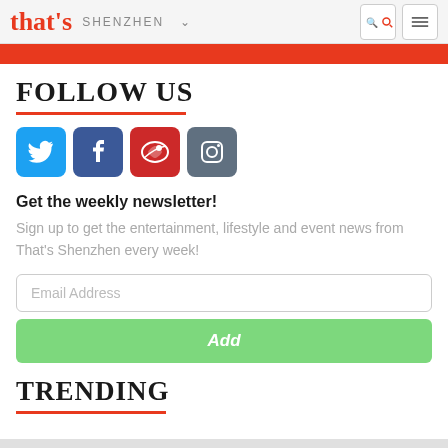that's SHENZHEN
FOLLOW US
[Figure (other): Four social media icons: Twitter (blue), Facebook (dark blue), Weibo (red), Instagram (grey-blue)]
Get the weekly newsletter!
Sign up to get the entertainment, lifestyle and event news from That's Shenzhen every week!
Email Address
Add
TRENDING